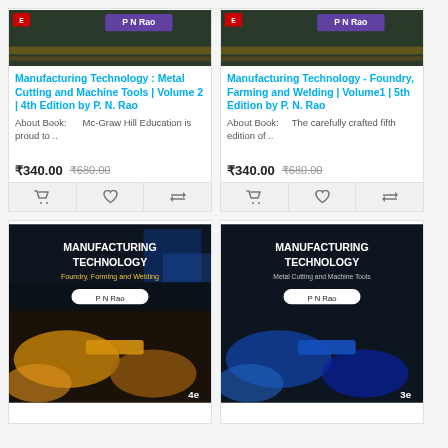[Figure (photo): Book cover: Manufacturing Technology Metal Cutting and Machine Tools by P N Rao]
Manufacturing Technology : Metal Cutting and Machine Tools | Volume 2 | 4th Edition by P. N. Rao
About Book:      Mc-Graw Hill Education is proud to ..
₹340.00   ₹680.00
[Figure (photo): Book cover: Manufacturing Technology Foundry, Farming and Welding by P N Rao]
Manufacturing Technology - Foundry, Farming and Welding | Volume1 | 5th Edition by P. N. Rao
About Book:      The carefully crafted fifth edition of ..
₹340.00   ₹680.00
[Figure (photo): Book cover: Manufacturing Technology - Foundry, Forming and Welding, 4e by P N Rao, dark background]
[Figure (photo): Book cover: Manufacturing Technology - Metal Cutting and Machine Tools, 3e by P N Rao, dark background]